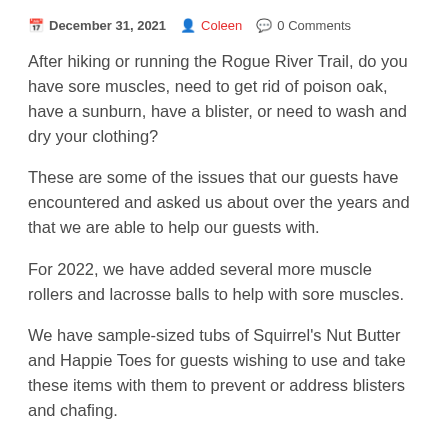December 31, 2021  Coleen  0 Comments
After hiking or running the Rogue River Trail, do you have sore muscles, need to get rid of poison oak, have a sunburn, have a blister, or need to wash and dry your clothing?
These are some of the issues that our guests have encountered and asked us about over the years and that we are able to help our guests with.
For 2022, we have added several more muscle rollers and lacrosse balls to help with sore muscles.
We have sample-sized tubs of Squirrel's Nut Butter and Happie Toes for guests wishing to use and take these items with them to prevent or address blisters and chafing.